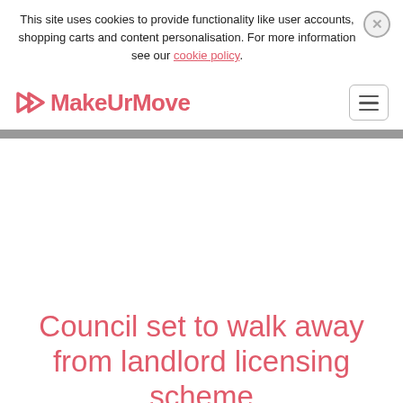This site uses cookies to provide functionality like user accounts, shopping carts and content personalisation. For more information see our cookie policy.
[Figure (logo): MakeUrMove logo — a pink arrow/chevron icon followed by the text MakeUrMove in pink bold font]
[Figure (other): Hamburger menu button — three horizontal lines in a rounded rectangle border]
Council set to walk away from landlord licensing scheme